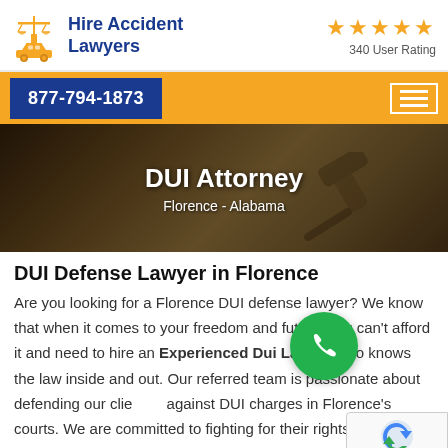[Figure (logo): Hire Accident Lawyers logo with scales of justice and car icon in gold/yellow, text in dark blue]
[Figure (infographic): Five gold stars rating with '340 User Rating' text below]
877-794-1873
[Figure (photo): Hero image of a judge's gavel on a desk with dark overlay, overlaid with text 'DUI Attorney' and 'Florence - Alabama']
DUI Defense Lawyer in Florence
Are you looking for a Florence DUI defense lawyer? We know that when it comes to your freedom and future, you can't afford it and need to hire an Experienced Dui Lawyer who knows the law inside and out. Our referred team is passionate about defending our clients against DUI charges in Florence's courts. We are committed to fighting for their rights every step of the way.